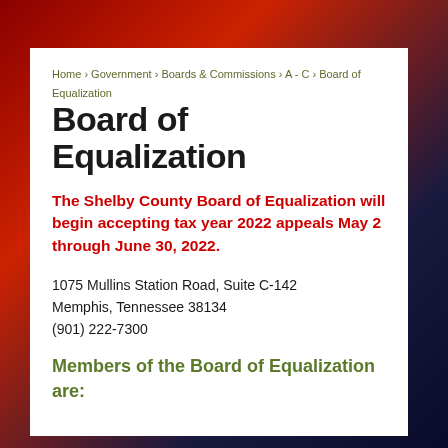Home › Government › Boards & Commissions › A - C › Board of Equalization
Board of Equalization
The Shelby County Board of Equalization will begin accepting tax year 2022 appeals May 2 through June 30, 2022.
1075 Mullins Station Road, Suite C-142
Memphis, Tennessee 38134
(901) 222-7300
Members of the Board of Equalization are: